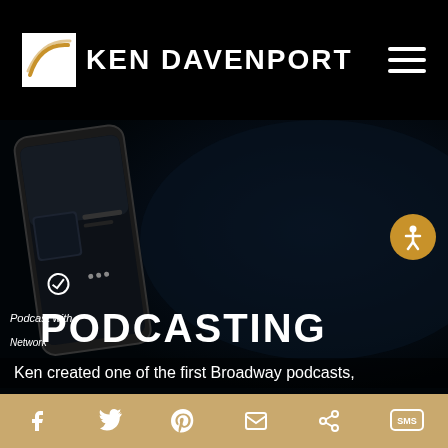KEN DAVENPORT
[Figure (screenshot): Website screenshot showing Ken Davenport podcasting page with black header containing logo, hero image of podcast app on dark background with a phone mockup showing a podcast interface, PODCASTING title overlay, and social share bar at bottom.]
PODCASTING
Ken created one of the first Broadway podcasts,
Social share icons: Facebook, Twitter, Pinterest, Email, Share, SMS